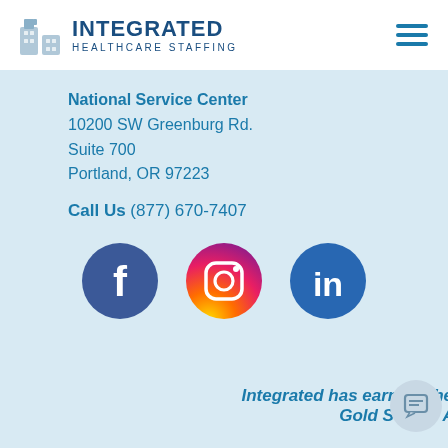[Figure (logo): Integrated Healthcare Staffing logo with icon and text]
National Service Center
10200 SW Greenburg Rd.
Suite 700
Portland, OR 97223
Call Us (877) 670-7407
[Figure (illustration): Social media icons: Facebook, Instagram, LinkedIn]
Integrated has earned The Joint Commission's Gold Seal of Approval.